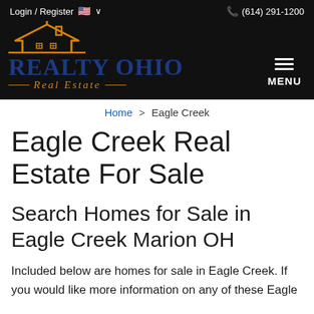Login / Register   🇺🇸 ∨   (614) 291-1200
[Figure (logo): Realty Ohio Real Estate logo with orange house icon above blue bold text REALTY OHIO and orange italic text Real Estate below, on a black background]
Home > Eagle Creek
Eagle Creek Real Estate For Sale
Search Homes for Sale in Eagle Creek Marion OH
Included below are homes for sale in Eagle Creek. If you would like more information on any of these Eagle